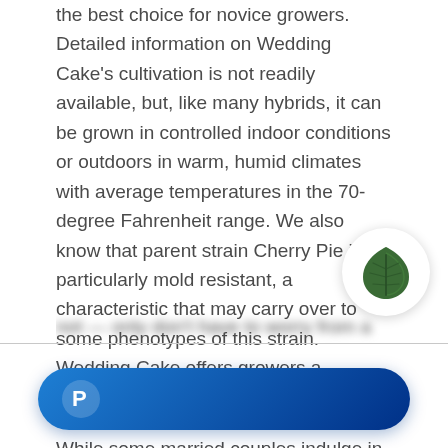the best choice for novice growers. Detailed information on Wedding Cake's cultivation is not readily available, but, like many hybrids, it can be grown in controlled indoor conditions or outdoors in warm, humid climates with average temperatures in the 70-degree Fahrenheit range. We also know that parent strain Cherry Pie is particularly mold resistant, a characteristic that may carry over to some phenotypes of this strain. Wedding Cake offers growers a moderate yield for their efforts.
While some married couples indulge in a piece of their frozen wedding cake on a first anniversary, a few tokes of Wedding Cake would be just as satisfying. Rich and recharging, it can stoke your spirits — and fortunately, not...
[Figure (logo): Green leaf logo in a white circle with shadow]
[Figure (logo): PayPal button — blue gradient pill shape with PayPal P icon]